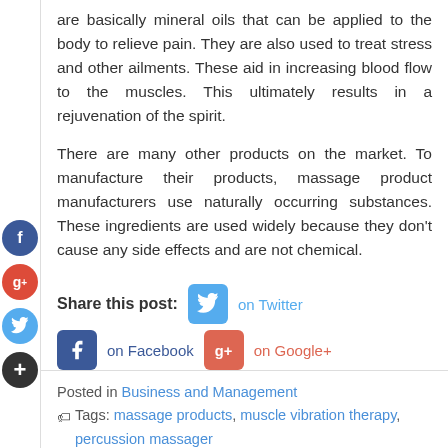are basically mineral oils that can be applied to the body to relieve pain. They are also used to treat stress and other ailments. These aid in increasing blood flow to the muscles. This ultimately results in a rejuvenation of the spirit.
There are many other products on the market. To manufacture their products, massage product manufacturers use naturally occurring substances. These ingredients are used widely because they don't cause any side effects and are not chemical.
[Figure (infographic): Social media share buttons: Share this post on Twitter, on Facebook, on Google+. Side icons: Facebook circle, Google+ circle, Twitter circle, Plus circle.]
Posted in Business and Management
Tags: massage products, muscle vibration therapy, percussion massager